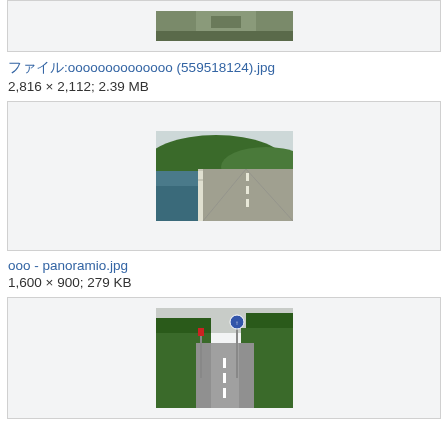[Figure (photo): Partial view of a photo at top of page (cropped), appears to be an aerial or landscape image]
ファイル:xxxxxxxxxxxxxxxxx (559518124).jpg
2,816 × 2,112; 2.39 MB
[Figure (photo): Road/bridge scene with water on left side, guardrail on right, green hills in background, overcast sky]
ファイル:xxx - panoramio.jpg
1,600 × 900; 279 KB
[Figure (photo): Road scene with road signs, lush green trees on both sides, appears to be a rural Japanese road]